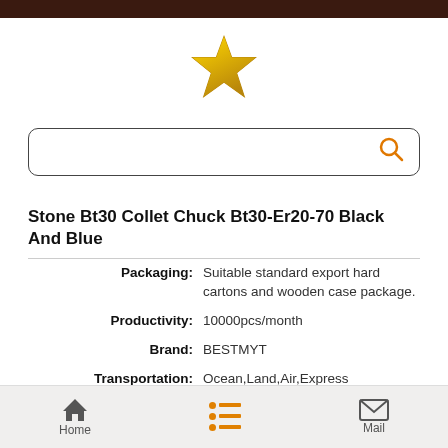[Figure (logo): Gold star logo icon centered at top of page]
Stone Bt30 Collet Chuck Bt30-Er20-70 Black And Blue
| Field | Value |
| --- | --- |
| Packaging: | Suitable standard export hard cartons and wooden case package. |
| Productivity: | 10000pcs/month |
| Brand: | BESTMYT |
| Transportation: | Ocean,Land,Air,Express |
| Place of Origin: | China |
| Supply Ability: | 10000pcs/month |
| Certificate: | ISO |
Home | (list icon) | Mail